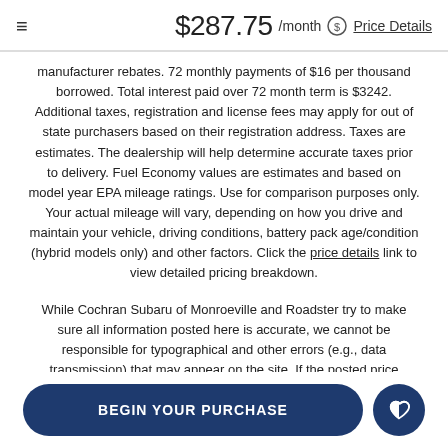$287.75 /month  Price Details
manufacturer rebates. 72 monthly payments of $16 per thousand borrowed. Total interest paid over 72 month term is $3242. Additional taxes, registration and license fees may apply for out of state purchasers based on their registration address. Taxes are estimates. The dealership will help determine accurate taxes prior to delivery. Fuel Economy values are estimates and based on model year EPA mileage ratings. Use for comparison purposes only. Your actual mileage will vary, depending on how you drive and maintain your vehicle, driving conditions, battery pack age/condition (hybrid models only) and other factors. Click the price details link to view detailed pricing breakdown.
While Cochran Subaru of Monroeville and Roadster try to make sure all information posted here is accurate, we cannot be responsible for typographical and other errors (e.g., data transmission) that may appear on the site. If the posted price (including finance and lease payments) for a vehicle is incorrect, Cochran Subaru of Monroeville and Roadster will
BEGIN YOUR PURCHASE